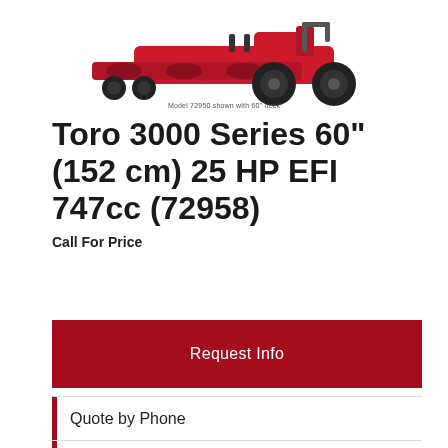[Figure (photo): Red Toro zero-turn riding mower shown from front-right angle with large cutting deck]
Model 72950 shown with 60" deck
Toro 3000 Series 60" (152 cm) 25 HP EFI 747cc (72958)
Call For Price
Request Info
Quote by Phone
Make Offer
Request Brochure